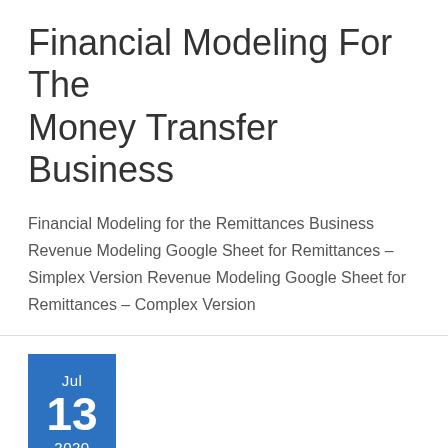Financial Modeling For The Money Transfer Business
Financial Modeling for the Remittances Business Revenue Modeling Google Sheet for Remittances – Simplex Version Revenue Modeling Google Sheet for Remittances – Complex Version
[Figure (infographic): Blue date box showing Jul 13 2020]
The Untold Story of the Islamic Crypto Dollar